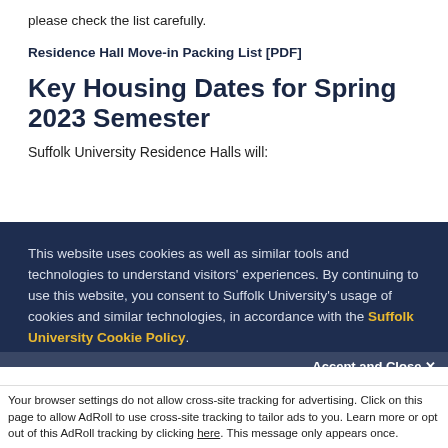please check the list carefully.
Residence Hall Move-in Packing List [PDF]
Key Housing Dates for Spring 2023 Semester
Suffolk University Residence Halls will:
This website uses cookies as well as similar tools and technologies to understand visitors' experiences. By continuing to use this website, you consent to Suffolk University's usage of cookies and similar technologies, in accordance with the Suffolk University Cookie Policy.
Accept and Close ✕
Your browser settings do not allow cross-site tracking for advertising. Click on this page to allow AdRoll to use cross-site tracking to tailor ads to you. Learn more or opt out of this AdRoll tracking by clicking here. This message only appears once.